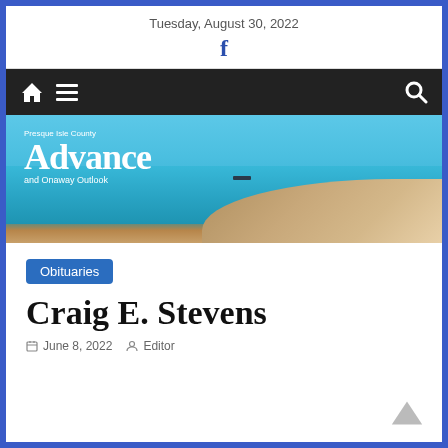Tuesday, August 30, 2022
[Figure (screenshot): Facebook icon (f) in blue]
[Figure (screenshot): Navigation bar with home icon, hamburger menu, and search icon on dark background]
[Figure (photo): Banner image of Presque Isle County Advance and Onaway Outlook newspaper logo over a scenic lake/ocean photo with turquoise water, sandy shore, and distant ship]
Obituaries
Craig E. Stevens
June 8, 2022   Editor